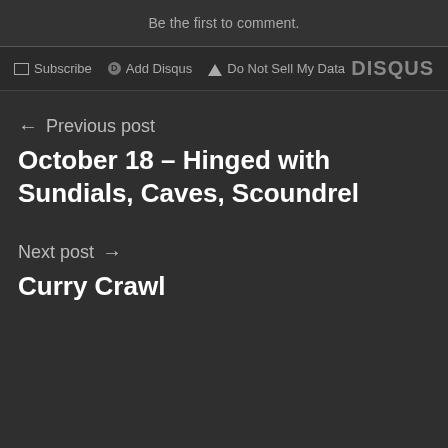Be the first to comment.
Subscribe  Add Disqus  Do Not Sell My Data  DISQUS
← Previous post
October 18 – Hinged with Sundials, Caves, Scoundrel
Next post →
Curry Crawl